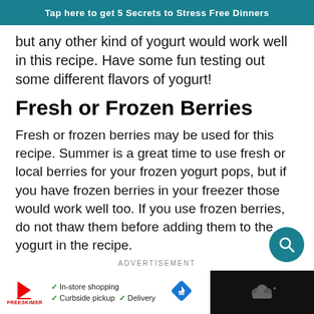Tap here to get 5 Secrets to Stress Free Dinners
but any other kind of yogurt would work well in this recipe. Have some fun testing out some different flavors of yogurt!
Fresh or Frozen Berries
Fresh or frozen berries may be used for this recipe. Summer is a great time to use fresh or local berries for your frozen yogurt pops, but if you have frozen berries in your freezer those would work well too. If you use frozen berries, do not thaw them before adding them to the yogurt in the recipe.
ADVERTISEMENT
[Figure (other): Advertisement banner with In-store shopping, Curbside pickup, Delivery options and navigation icons]